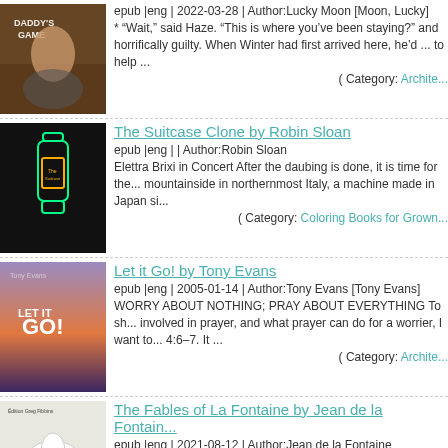[Figure (illustration): Book cover: Daddy's Game, showing a muscular man and woman]
epub |eng | 2022-03-28 | Author:Lucky Moon [Moon, Lucky]
* “Wait,” said Haze. “This is where you’ve been staying?” and horrifically guilty. When Winter had first arrived here, he’d ... to help ...
( Category: Archite...
[Figure (illustration): Book cover: The Suitcase Clone, showing a neon bottle on black background]
The Suitcase Clone by Robin Sloan
epub |eng | | Author:Robin Sloan
Elettra Brixi in Concert After the daubing is done, it is time for the... mountainside in northernmost Italy, a machine made in Japan si...
( Category: Coloring Books for Grown...
[Figure (illustration): Book cover: Let it Go! by Tony Evans, showing sunset sky]
Let it Go! by Tony Evans
epub |eng | 2005-01-14 | Author:Tony Evans [Tony Evans]
WORRY ABOUT NOTHING; PRAY ABOUT EVERYTHING To sh... involved in prayer, and what prayer can do for a worrier, I want to... 4:6–7. It ...
( Category: Archite...
[Figure (illustration): Book cover: The Fables of La Fontaine by Jean de la Fontaine, showing a swan]
The Fables of La Fontaine by Jean de la Fontain...
epub |eng | 2021-08-12 | Author:Jean de la Fontaine [Fontaine, J...
( Category: Archite...